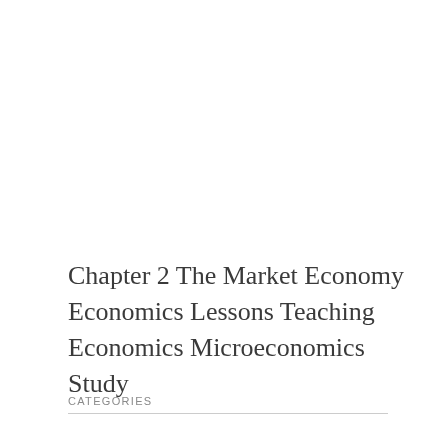Chapter 2 The Market Economy Economics Lessons Teaching Economics Microeconomics Study
CATEGORIES